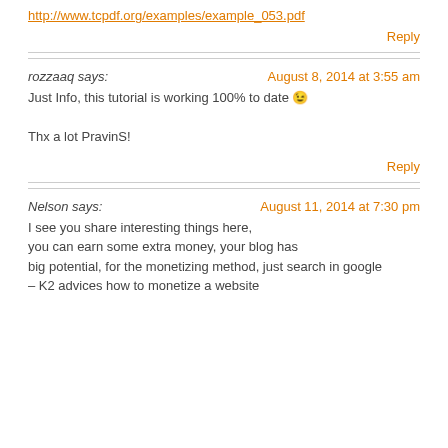http://www.tcpdf.org/examples/example_053.pdf
Reply
rozzaaq says:
August 8, 2014 at 3:55 am
Just Info, this tutorial is working 100% to date 🙂

Thx a lot PravinS!
Reply
Nelson says:
August 11, 2014 at 7:30 pm
I see you share interesting things here, you can earn some extra money, your blog has big potential, for the monetizing method, just search in google – K2 advices how to monetize a website